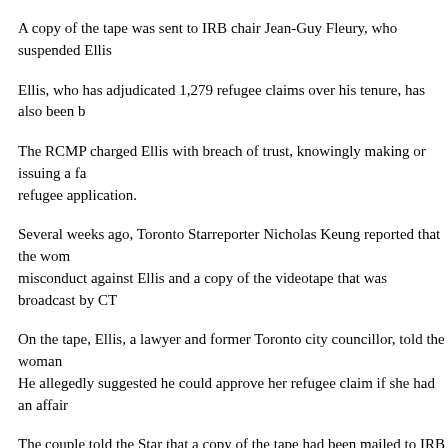A copy of the tape was sent to IRB chair Jean-Guy Fleury, who suspended Ellis
Ellis, who has adjudicated 1,279 refugee claims over his tenure, has also been b
The RCMP charged Ellis with breach of trust, knowingly making or issuing a fa refugee application.
Several weeks ago, Toronto Starreporter Nicholas Keung reported that the wom misconduct against Ellis and a copy of the videotape that was broadcast by CT
On the tape, Ellis, a lawyer and former Toronto city councillor, told the woman He allegedly suggested he could approve her refugee claim if she had an affair
The couple told the Star that a copy of the tape had been mailed to IRB chair Fl
In a statement posted on the IRB website, Fleury said he became aware of "alle pending an internal review.
"The allegations of misconduct in this instance are very serious," wrote Fleury, "Canadians have a right to know that the IRB processes are strong and capable